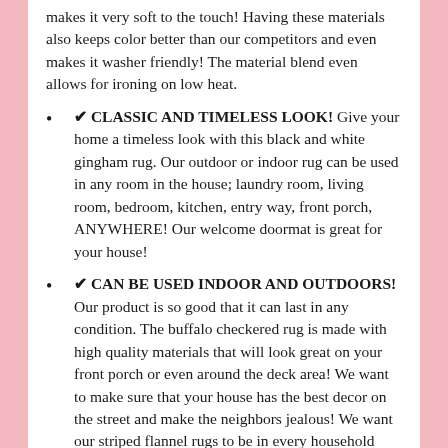makes it very soft to the touch! Having these materials also keeps color better than our competitors and even makes it washer friendly! The material blend even allows for ironing on low heat.
✔ CLASSIC AND TIMELESS LOOK! Give your home a timeless look with this black and white gingham rug. Our outdoor or indoor rug can be used in any room in the house; laundry room, living room, bedroom, kitchen, entry way, front porch, ANYWHERE! Our welcome doormat is great for your house!
✔ CAN BE USED INDOOR AND OUTDOORS! Our product is so good that it can last in any condition. The buffalo checkered rug is made with high quality materials that will look great on your front porch or even around the deck area! We want to make sure that your house has the best decor on the street and make the neighbors jealous! We want our striped flannel rugs to be in every household